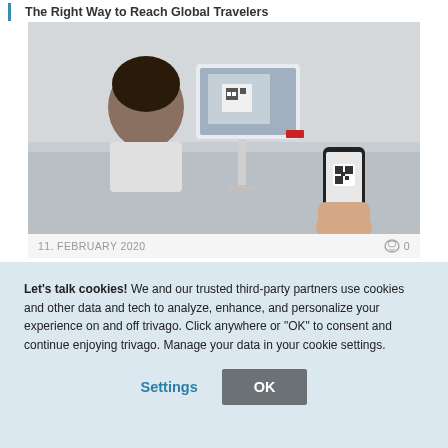The Right Way to Reach Global Travelers
[Figure (photo): Hotel check-in desk scene: a woman sitting behind a counter while a hand holds a smartphone with a QR code up to a tablet/kiosk display]
11. FEBRUARY 2020    💬 0
Delivering a Great First Impression to Hotel Guests in the Digital Age
Let's talk cookies! We and our trusted third-party partners use cookies and other data and tech to analyze, enhance, and personalize your experience on and off trivago. Click anywhere or "OK" to consent and continue enjoying trivago. Manage your data in your cookie settings.